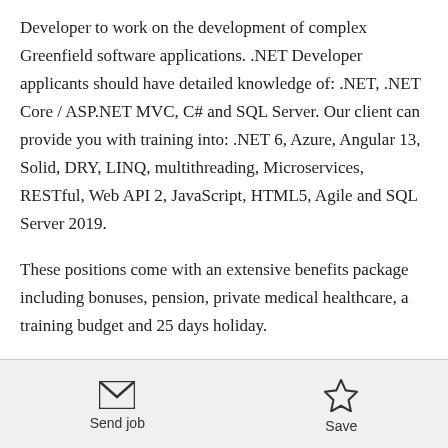Developer to work on the development of complex Greenfield software applications. .NET Developer applicants should have detailed knowledge of: .NET, .NET Core / ASP.NET MVC, C# and SQL Server. Our client can provide you with training into: .NET 6, Azure, Angular 13, Solid, DRY, LINQ, multithreading, Microservices, RESTful, Web API 2, JavaScript, HTML5, Agile and SQL Server 2019.
These positions come with an extensive benefits package including bonuses, pension, private medical healthcare, a training budget and 25 days holiday.
[Figure (other): Send job icon (envelope) and Save icon (star) action buttons at the bottom of the page]